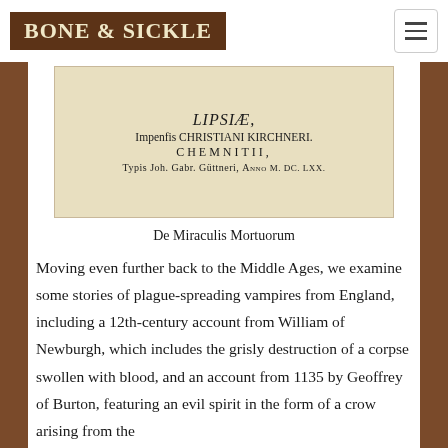BONE & SICKLE
[Figure (photo): Scanned title page of an old book showing: LIPSIAE, Impensis CHRISTIANI KIRCHNERI. CHEMNITII, Typis Joh. Gabr. Güttneri, ANNO M.DC.LXX.]
De Miraculis Mortuorum
Moving even further back to the Middle Ages, we examine some stories of plague-spreading vampires from England, including a 12th-century account from William of Newburgh, which includes the grisly destruction of a corpse swollen with blood, and an account from 1135 by Geoffrey of Burton, featuring an evil spirit in the form of a crow arising from the